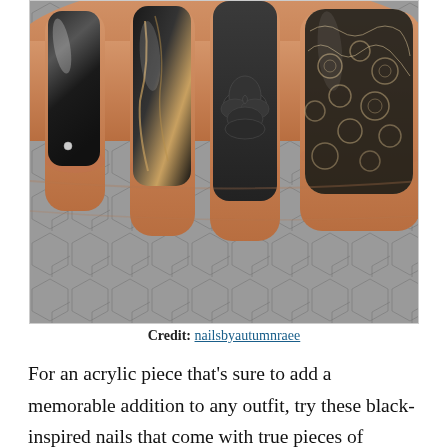[Figure (photo): Close-up photo of four long acrylic nails on a hand against a grey hexagonal tile background. The nails feature various black nail art designs: a plain glossy black nail with a silver charm, a black marble-effect nail, a dark grey sculpted 3D black rose nail, and a black lace-patterned nail with a beige/nude base.]
Credit: nailsbyautumnraee
For an acrylic piece that's sure to add a memorable addition to any outfit, try these black-inspired nails that come with true pieces of sculpted art in the form of a black rose. For a more subtle option, the black lace touches are also inspiring that you can utilize separately